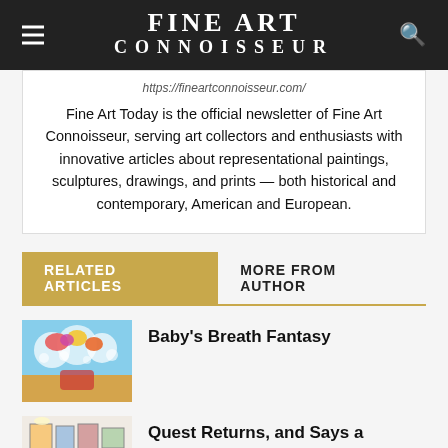FINE ART CONNOISSEUR
https://fineartconnoisseur.com/
Fine Art Today is the official newsletter of Fine Art Connoisseur, serving art collectors and enthusiasts with innovative articles about representational paintings, sculptures, drawings, and prints — both historical and contemporary, American and European.
RELATED ARTICLES
MORE FROM AUTHOR
Baby's Breath Fantasy
Quest Returns, and Says a Goodbye